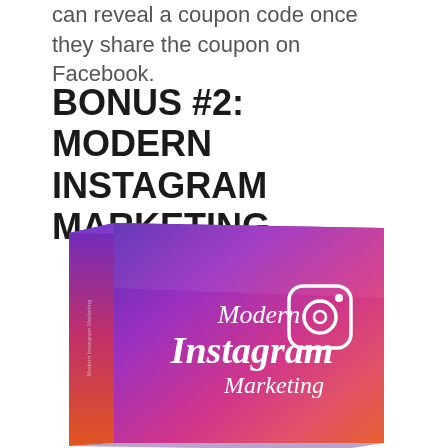can reveal a coupon code once they share the coupon on Facebook.
BONUS #2: MODERN INSTAGRAM MARKETING
[Figure (illustration): 3D book cover with gradient purple, pink, orange background showing 'Modern Instagram Marketing' text with Instagram logo icon in white]